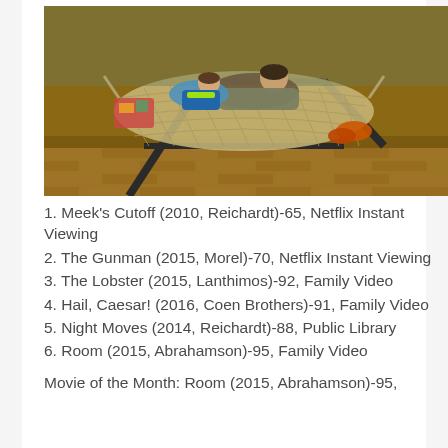[Figure (photo): Two people, an adult and a child, lying together in a rope hammock outdoors on a brick patio. The adult has short hair and is wearing a jacket. The child is wearing a blue vest with neon green visible underneath.]
1. Meek's Cutoff (2010, Reichardt)-65, Netflix Instant Viewing
2. The Gunman (2015, Morel)-70, Netflix Instant Viewing
3. The Lobster (2015, Lanthimos)-92, Family Video
4. Hail, Caesar! (2016, Coen Brothers)-91, Family Video
5. Night Moves (2014, Reichardt)-88, Public Library
6. Room (2015, Abrahamson)-95, Family Video
Movie of the Month: Room (2015, Abrahamson)-95,